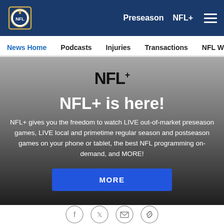NFL Navigation Header: Preseason, NFL+, Menu
News Home | Podcasts | Injuries | Transactions | NFL Writers | Se...
[Figure (screenshot): NFL+ promotional banner with logo, headline 'NFL+ is here!', descriptive text about live games and NFL programming, and a MORE button]
Social sharing icons: Facebook, Twitter, Email, Link